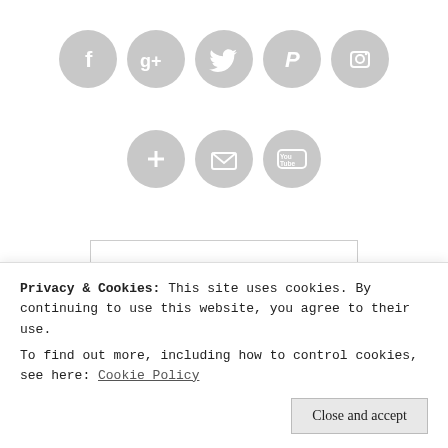[Figure (illustration): Row of 5 grey circular social media icons: Facebook (f), Google+ (g+), Twitter (bird), Pinterest (P), Instagram (camera)]
[Figure (illustration): Row of 3 grey circular social media icons: Google+ circle (+), Email (envelope), YouTube (YouTube logo)]
[Figure (logo): Amazon logo with smile arrow and tagline SHOP. CONNECT. ENJOY. in orange, inside a bordered box]
[Figure (logo): Partially visible Amazon logo inside a bordered box, cut off at bottom]
Privacy & Cookies: This site uses cookies. By continuing to use this website, you agree to their use.
To find out more, including how to control cookies, see here: Cookie Policy
Close and accept